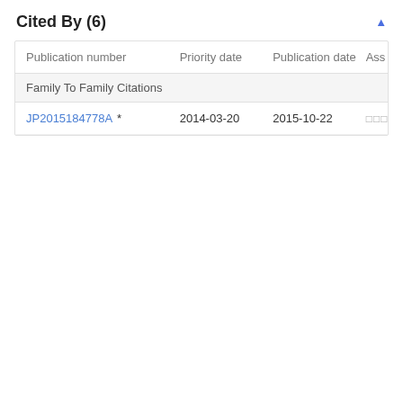Cited By (6)
| Publication number | Priority date | Publication date | Ass |
| --- | --- | --- | --- |
| Family To Family Citations |  |  |  |
| JP2015184778A * | 2014-03-20 | 2015-10-22 | □□□□ |